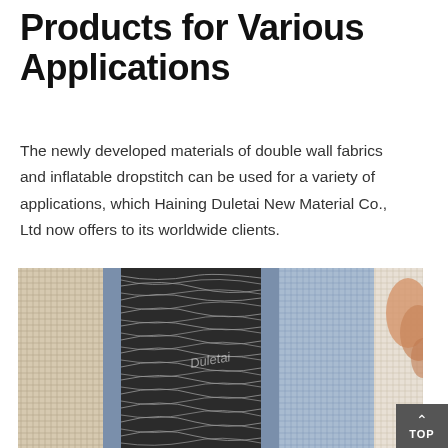Products for Various Applications
The newly developed materials of double wall fabrics and inflatable dropstitch can be used for a variety of applications, which Haining Duletai New Material Co., Ltd now offers to its worldwide clients.
[Figure (photo): Close-up photograph of double wall fabric / inflatable dropstitch material showing cross-section: left side beige/cream textured fabric, center dark cross-linked fiber strands (dropstitch connecting layers), right side light blue fabric. A hand holds the right edge open. Watermark text 'Duletai' visible in center.]